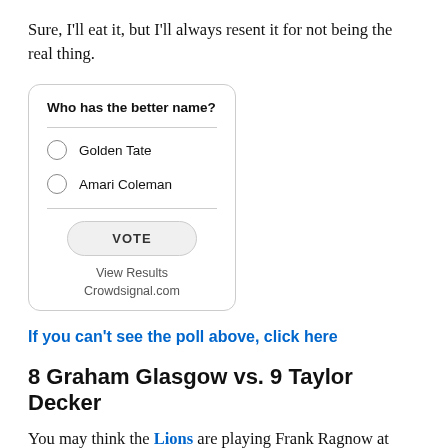Sure, I'll eat it, but I'll always resent it for not being the real thing.
[Figure (other): A poll widget with the question 'Who has the better name?' with options 'Golden Tate' and 'Amari Coleman', a VOTE button, 'View Results' link, and 'Crowdsignal.com' branding.]
If you can't see the poll above, click here
8 Graham Glasgow vs. 9 Taylor Decker
You may think the Lions are playing Frank Ragnow at